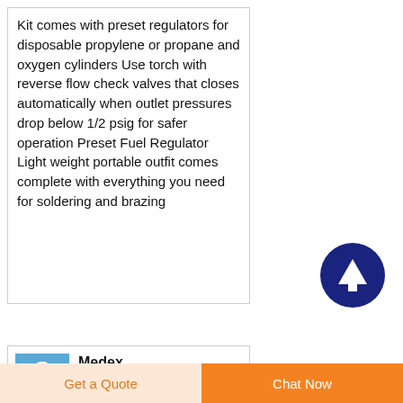Kit comes with preset regulators for disposable propylene or propane and oxygen cylinders Use torch with reverse flow check valves that closes automatically when outlet pressures drop below 1/2 psig for safer operation Preset Fuel Regulator Light weight portable outfit comes complete with everything you need for soldering and brazing
[Figure (other): Dark blue circular button with white upward arrow icon]
[Figure (logo): Medex SupplyMedical logo - blue background with medical device image]
Medex SupplyMedical
Surgical Durable
Get a Quote
Chat Now